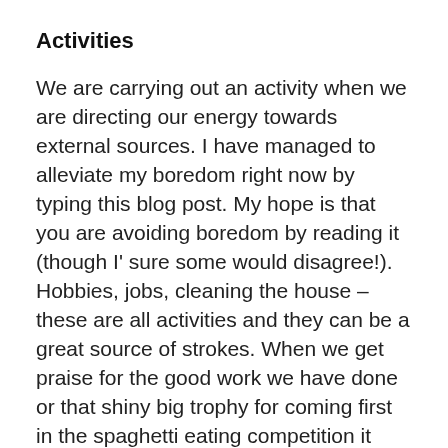Activities
We are carrying out an activity when we are directing our energy towards external sources. I have managed to alleviate my boredom right now by typing this blog post. My hope is that you are avoiding boredom by reading it (though I' sure some would disagree!). Hobbies, jobs, cleaning the house – these are all activities and they can be a great source of strokes. When we get praise for the good work we have done or that shiny big trophy for coming first in the spaghetti eating competition it feels great! So does being paid at the end of the month. Negative strokes are also available in the form of tellings off by the